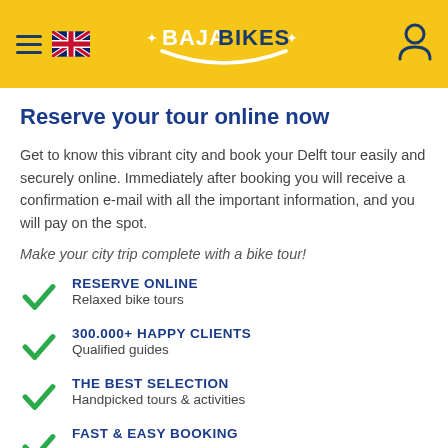BAJABIKES
Reserve your tour online now
Get to know this vibrant city and book your Delft tour easily and securely online. Immediately after booking you will receive a confirmation e-mail with all the important information, and you will pay on the spot.
Make your city trip complete with a bike tour!
RESERVE ONLINE
Relaxed bike tours
300.000+ HAPPY CLIENTS
Qualified guides
THE BEST SELECTION
Handpicked tours & activities
FAST & EASY BOOKING